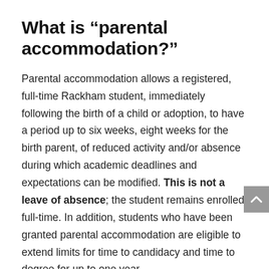What is “parental accommodation?”
Parental accommodation allows a registered, full-time Rackham student, immediately following the birth of a child or adoption, to have a period up to six weeks, eight weeks for the birth parent, of reduced activity and/or absence during which academic deadlines and expectations can be modified. This is not a leave of absence; the student remains enrolled full-time. In addition, students who have been granted parental accommodation are eligible to extend limits for time to candidacy and time to degree for up to one year.
Who is eligible to be